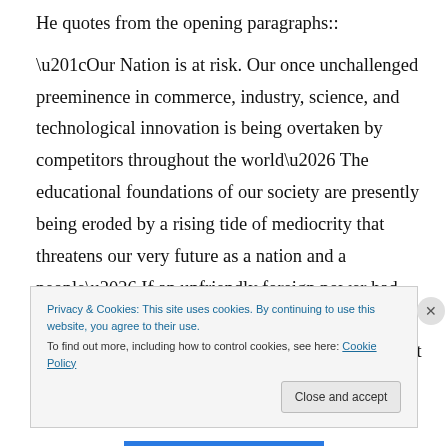He quotes from the opening paragraphs::
“Our Nation is at risk. Our once unchallenged preeminence in commerce, industry, science, and technological innovation is being overtaken by competitors throughout the world… The educational foundations of our society are presently being eroded by a rising tide of mediocrity that threatens our very future as a nation and a people… If an unfriendly foreign power had attempted to impose on America the mediocre educational performance that exists today, we might well have viewed it as an act of
Privacy & Cookies: This site uses cookies. By continuing to use this website, you agree to their use.
To find out more, including how to control cookies, see here: Cookie Policy